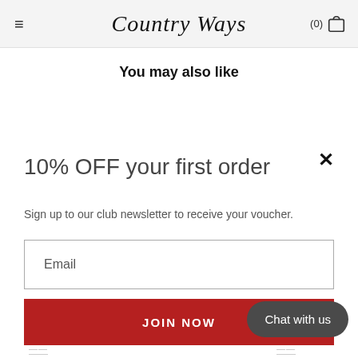Country Ways
You may also like
10% OFF your first order
Sign up to our club newsletter to receive your voucher.
Email
JOIN NOW
Chat with us